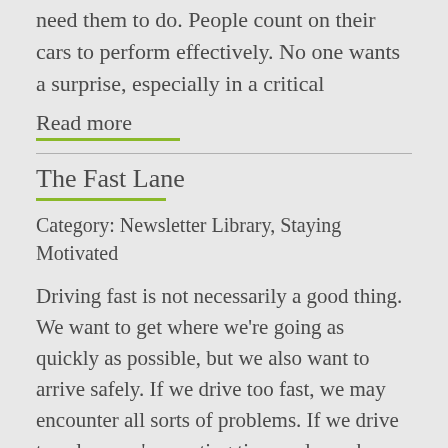need them to do. People count on their cars to perform effectively. No one wants a surprise, especially in a critical
Read more
The Fast Lane
Category: Newsletter Library, Staying Motivated
Driving fast is not necessarily a good thing. We want to get where we're going as quickly as possible, but we also want to arrive safely. If we drive too fast, we may encounter all sorts of problems. If we drive too slow, we're wasting time and may be causing traffic problems behind